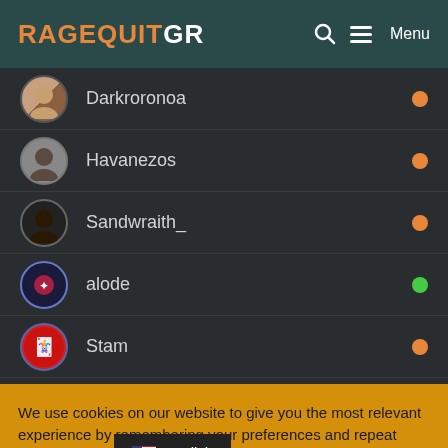RageQuitGR — Menu
Darkroronoa — online (orange)
Havanezos — online (orange)
Sandwraith_ — online (orange)
alode — online (green)
Stam — online (orange)
We use cookies on our website to give you the most relevant experience by remembering your preferences and repeat visits. By clicking "Accept All", you consent to the use of all cookies. However, you may visit "Cookie Settings" to provide a controlled consent.
Cookie Settings | Accept All | English